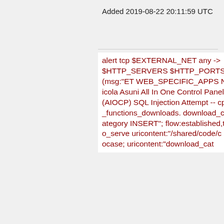Added 2019-08-22 20:11:59 UTC
alert tcp $EXTERNAL_NET any -> $HTTP_SERVERS $HTTP_PORTS (msg:"ET WEB_SPECIFIC_APPS Nicola Asuni All In One Control Panel (AIOCP) SQL Injection Attempt -- cp_functions_downloads. download_category INSERT"; flow:established,to_server; uricontent:"/shared/code/c nocase; uricontent:"download_cat